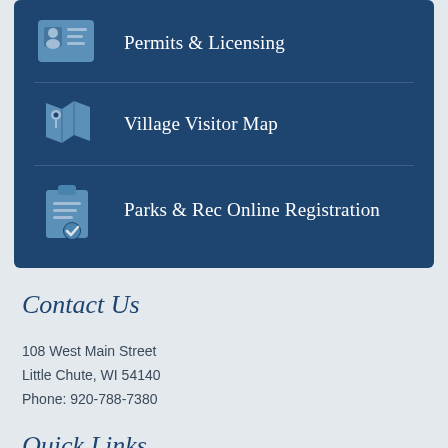[Figure (infographic): Dark blue box with three menu items: Permits & Licensing (ID card icon), Village Visitor Map (map icon), Parks & Rec Online Registration (clipboard with checkmark icon)]
Contact Us
108 West Main Street
Little Chute, WI 54140
Phone: 920-788-7380
Quick Links
Contact Village Staff
Geographic Information System (GIS) & Maps